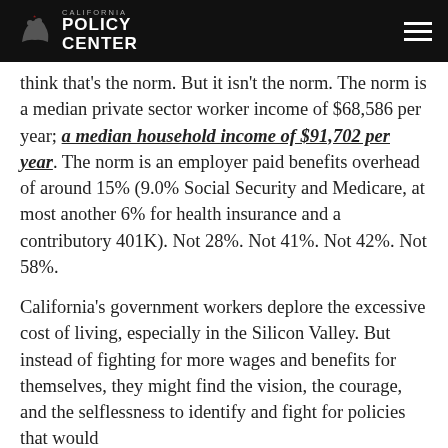California Policy Center
think that's the norm. But it isn't the norm. The norm is a median private sector worker income of $68,586 per year; a median household income of $91,702 per year. The norm is an employer paid benefits overhead of around 15% (9.0% Social Security and Medicare, at most another 6% for health insurance and a contributory 401K). Not 28%. Not 41%. Not 42%. Not 58%.
California's government workers deplore the excessive cost of living, especially in the Silicon Valley. But instead of fighting for more wages and benefits for themselves, they might find the vision, the courage, and the selflessness to identify and fight for policies that would